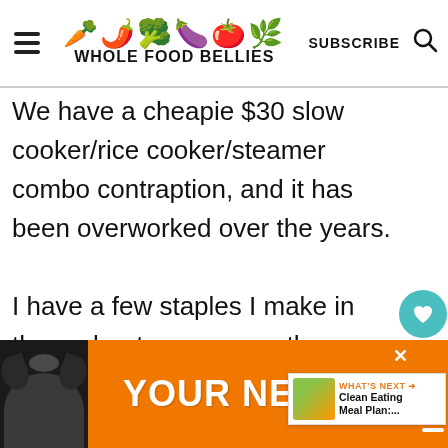WHOLE FOOD BELLIES
We have a cheapie $30 slow cooker/rice cooker/steamer combo contraption, and it has been overworked over the years.

I have a few staples I make in there about once a month - including refried beans, black beans, and vegetable stock, and I
[Figure (screenshot): What's Next promotional box showing Clean Eating Meal Plan thumbnail]
[Figure (screenshot): Advertisement banner with dog image and text YOUR NEW BFF on orange background]